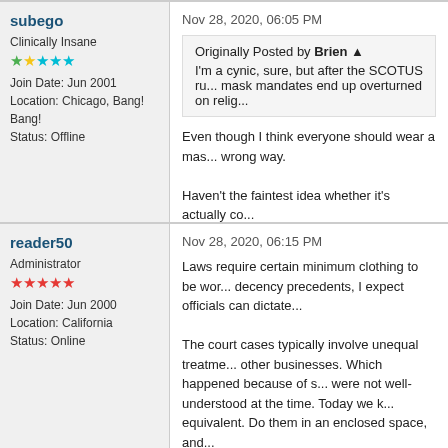subego
Clinically Insane
Join Date: Jun 2001
Location: Chicago, Bang! Bang!
Status: Offline
Nov 28, 2020, 06:05 PM
Originally Posted by Brien
I'm a cynic, sure, but after the SCOTUS ru... mask mandates end up overturned on relig...
Even though I think everyone should wear a mas... wrong way.

Haven't the faintest idea whether it's actually co...
reader50
Administrator
Join Date: Jun 2000
Location: California
Status: Online
Nov 28, 2020, 06:15 PM
Laws require certain minimum clothing to be wor... decency precedents, I expect officials can dictate...

The court cases typically involve unequal treatme... other businesses. Which happened because of s... were not well-understood at the time. Today we k... equivalent. Do them in an enclosed space, and...